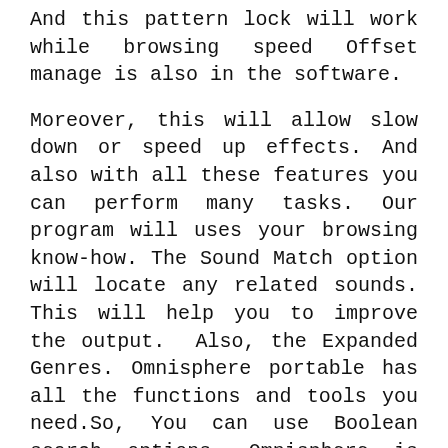And this pattern lock will work while browsing speed Offset manage is also in the software.
Moreover, this will allow slow down or speed up effects. And also with all these features you can perform many tasks. Our program will uses your browsing know-how. The Sound Match option will locate any related sounds. This will help you to improve the output. Also, the Expanded Genres. Omnisphere portable has all the functions and tools you need.So, You can use Boolean search options. Omnisphere is the Pro-Level software. Also, It has 16 FX units per patch you will also have New AUX FX rack per patch. Hence, These will work with Pre/Post fader sends there is a lot of Pro-level people